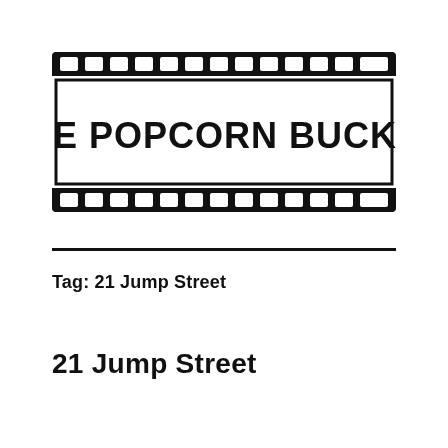[Figure (logo): Film strip logo with bold text 'THE POPCORN BUCKET' inside a film strip border graphic]
Tag: 21 Jump Street
21 Jump Street